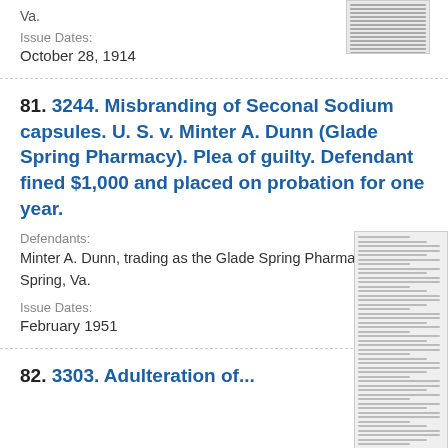Va.
Issue Dates:
October 28, 1914
81. 3244. Misbranding of Seconal Sodium capsules. U. S. v. Minter A. Dunn (Glade Spring Pharmacy). Plea of guilty. Defendant fined $1,000 and placed on probation for one year.
Defendants:
Minter A. Dunn, trading as the Glade Spring Pharmacy, Glade Spring, Va.
Issue Dates:
February 1951
82. 3303. Adulteration of...